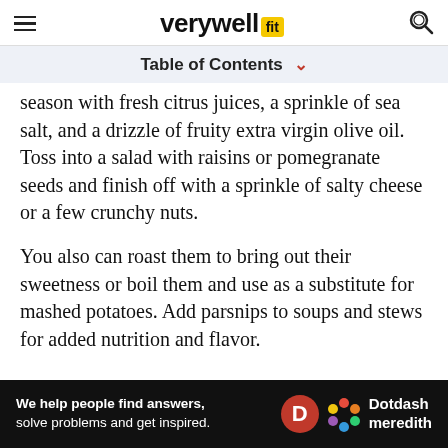verywell fit
Table of Contents
season with fresh citrus juices, a sprinkle of sea salt, and a drizzle of fruity extra virgin olive oil. Toss into a salad with raisins or pomegranate seeds and finish off with a sprinkle of salty cheese or a few crunchy nuts.
You also can roast them to bring out their sweetness or boil them and use as a substitute for mashed potatoes. Add parsnips to soups and stews for added nutrition and flavor.
[Figure (other): Social sharing buttons: Pinterest (red), Flipboard (red), Email (black), Comment (black)]
[Figure (other): Dotdash Meredith advertisement banner: 'We help people find answers, solve problems and get inspired.']